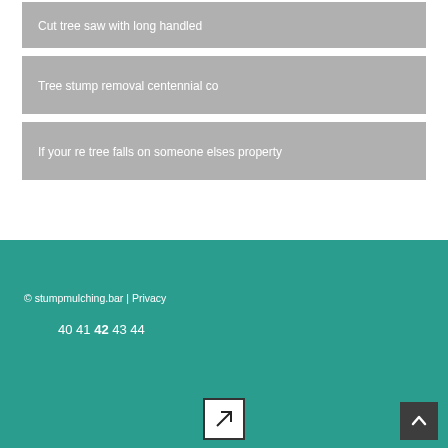Cut tree saw with long handled
Tree stump removal centennial co
If your re tree falls on someone elses property
© stumpmulching.bar | Privacy
40 41 42 43 44